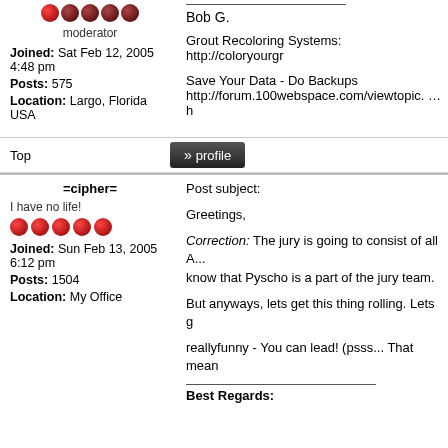moderator
Joined: Sat Feb 12, 2005 4:48 pm
Posts: 575
Location: Largo, Florida USA
Bob G.

Grout Recoloring Systems: http://coloryourgr...

Save Your Data - Do Backups
http://forum.100webspace.com/viewtopic. ...
Top
=cipher=
Post subject:
I have no life!
Joined: Sun Feb 13, 2005 6:12 pm
Posts: 1504
Location: My Office
Greetings,

Correction: The jury is going to consist of all A... know that Pyscho is a part of the jury team.

But anyways, lets get this thing rolling. Lets g...

reallyfunny - You can lead! (psss... That mean...

Best Regards: